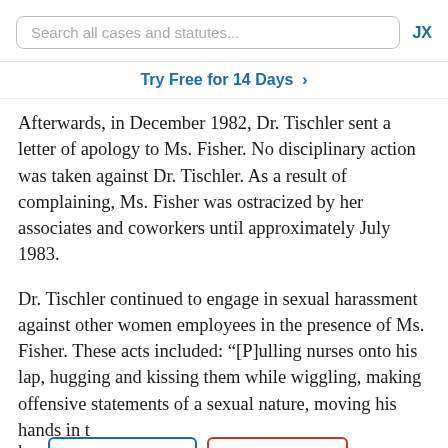Search all cases and statutes... JX
Try Free for 14 Days >
Afterwards, in December 1982, Dr. Tischler sent a letter of apology to Ms. Fisher. No disciplinary action was taken against Dr. Tischler. As a result of complaining, Ms. Fisher was ostracized by her associates and coworkers until approximately July 1983.
Dr. Tischler continued to engage in sexual harassment against other women employees in the presence of Ms. Fisher. These acts included: “[P]ulling nurses onto his lap, hugging and kissing them while wiggling, making offensive statements of a sexual nature, moving his hands in t[he direction of their genital] w[hite coat] area, grabbing t[he women from] bac[k and putting his hands] on their breasts or in the area of their breasts, picking up women
[Figure (screenshot): Two UI buttons overlaid on the text: a 'Download' button with a blue border and blue arrow-down icon, and a 'Treatment' button with a red border and red flag icon.]